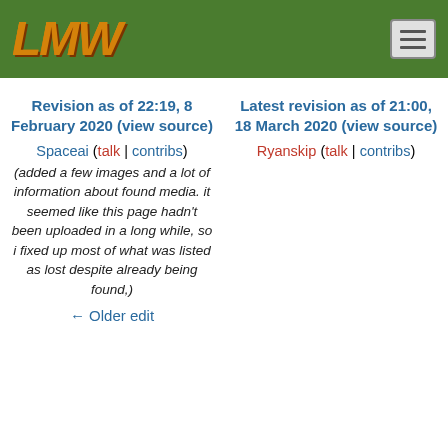LMW [logo] with hamburger menu
Revision as of 22:19, 8 February 2020 (view source)
Spaceai (talk | contribs)
(added a few images and a lot of information about found media. it seemed like this page hadn't been uploaded in a long while, so i fixed up most of what was listed as lost despite already being found,)
← Older edit
Latest revision as of 21:00, 18 March 2020 (view source)
Ryanskip (talk | contribs)